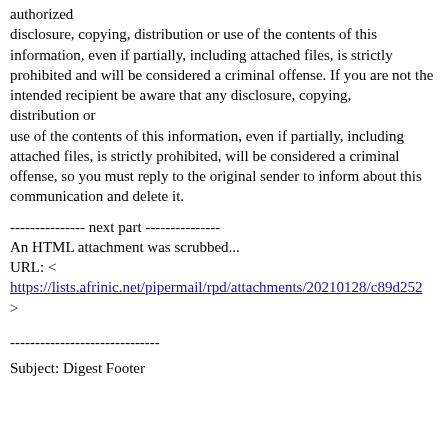authorized
disclosure, copying, distribution or use of the contents of this information, even if partially, including attached files, is strictly prohibited and will be considered a criminal offense. If you are not the
intended recipient be aware that any disclosure, copying, distribution or
use of the contents of this information, even if partially, including attached files, is strictly prohibited, will be considered a criminal offense, so you must reply to the original sender to inform about this
communication and delete it.
--------------- next part ---------------
An HTML attachment was scrubbed...
URL: <
https://lists.afrinic.net/pipermail/rpd/attachments/20210128/c89d252
>
------------------------------
Subject: Digest Footer